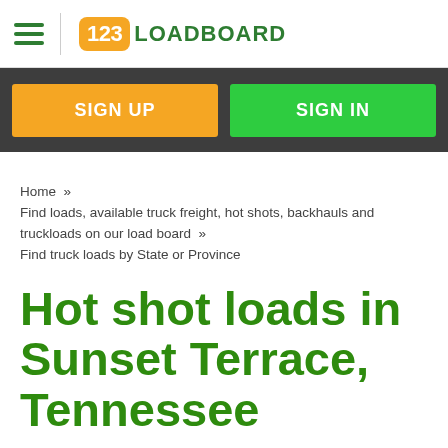123LOADBOARD
SIGN UP
SIGN IN
Home » Find loads, available truck freight, hot shots, backhauls and truckloads on our load board » Find truck loads by State or Province
Hot shot loads in Sunset Terrace, Tennessee